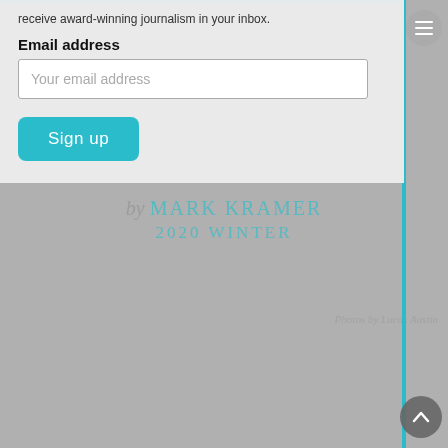receive award-winning journalism in your inbox.
are full of camouflaged bowmen
by  MARK KRAMER
2020 WINTER
Email address
Your email address
Sign up
Photos by Lucas Austin
[Figure (photo): Person in camouflage gear walking through an urban alley between brick buildings]
[Figure (photo): Person in camouflage gear with equipment in an outdoor wooded area]
Each fall and winter, hunters Cole Guerrieri and Shaun Austin tra... and kill deer within Pittsburgh city limits—putting food on the tabl...